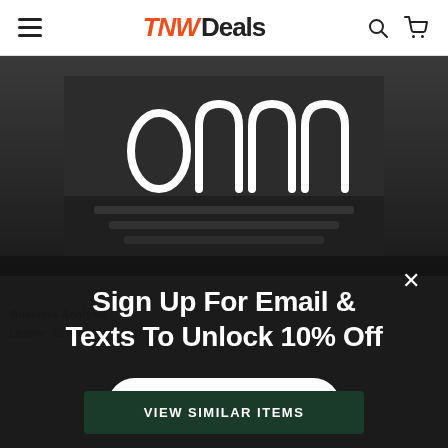TNW Deals
[Figure (screenshot): Product image showing keyboard/laptop in dark background with circular/arch shaped UI elements overlay]
Sign Up For Email & Texts To Unlock 10% Off
Business Analysis
Get Discount
VIEW SIMILAR ITEMS